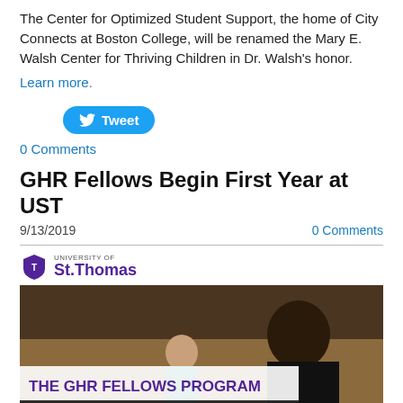The Center for Optimized Student Support, the home of City Connects at Boston College, will be renamed the Mary E. Walsh Center for Thriving Children in Dr. Walsh's honor.
Learn more.
[Figure (other): Twitter Tweet button]
0 Comments
GHR Fellows Begin First Year at UST
9/13/2019
0 Comments
[Figure (photo): University of St. Thomas logo and GHR Fellows Program promotional image showing a smiling young man with text: THE GHR FELLOWS PROGRAM FOR FUTURE BUSINESS LEADERS WHO WANT TO CHANGE THE WORLD]